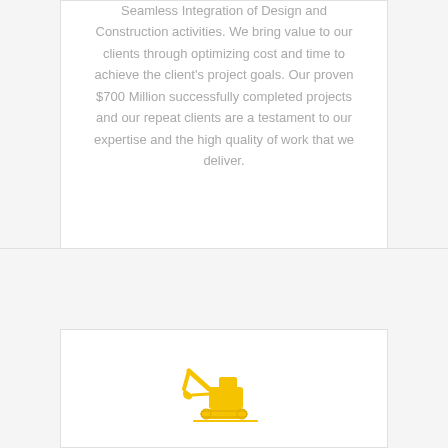Seamless Integration of Design and Construction activities. We bring value to our clients through optimizing cost and time to achieve the client's project goals. Our proven $700 Million successfully completed projects and our repeat clients are a testament to our expertise and the high quality of work that we deliver.
[Figure (illustration): Yellow construction excavator / crane icon]
Construction